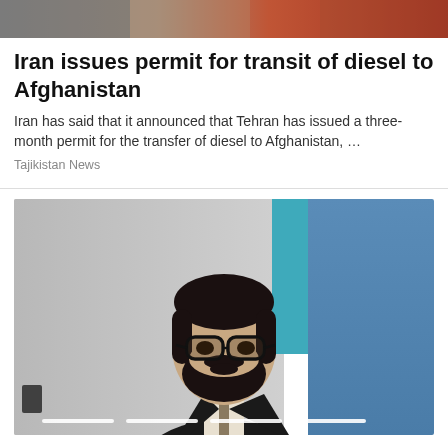[Figure (photo): Partial top photo strip showing background with red/brown tones at the top of the page]
Iran issues permit for transit of diesel to Afghanistan
Iran has said that it announced that Tehran has issued a three-month permit for the transfer of diesel to Afghanistan, …
Tajikistan News
[Figure (photo): A man with glasses and a beard wearing a dark suit and tie, speaking at a podium or event. Background shows grey wall on the left and teal and blue panels on the right. Four white indicator lines appear at the bottom of the image.]